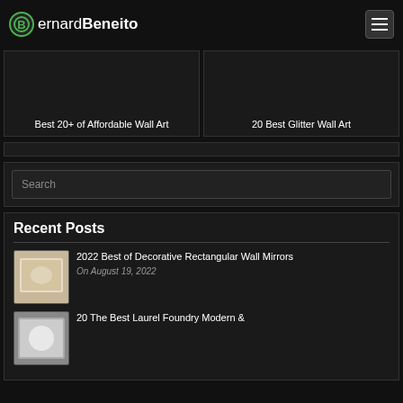BernardBeneito
Best 20+ of Affordable Wall Art
20 Best Glitter Wall Art
Search
Recent Posts
2022 Best of Decorative Rectangular Wall Mirrors
On August 19, 2022
20 The Best Laurel Foundry Modern &